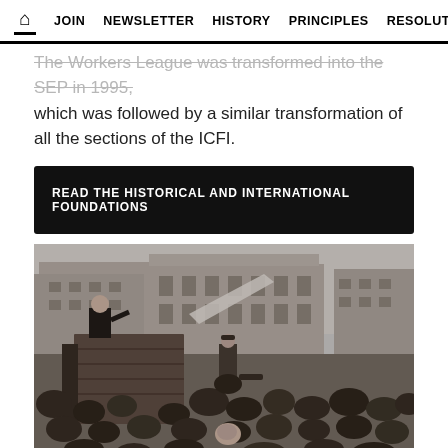🏠 JOIN  NEWSLETTER  HISTORY  PRINCIPLES  RESOLUT
The Workers League was transformed into the SEP in 1995, which was followed by a similar transformation of all the sections of the ICFI.
READ THE HISTORICAL AND INTERNATIONAL FOUNDATIONS
[Figure (photo): Black and white historical photograph of a man standing on a raised wooden platform addressing a large crowd in a city square, with grand European-style buildings in the background.]